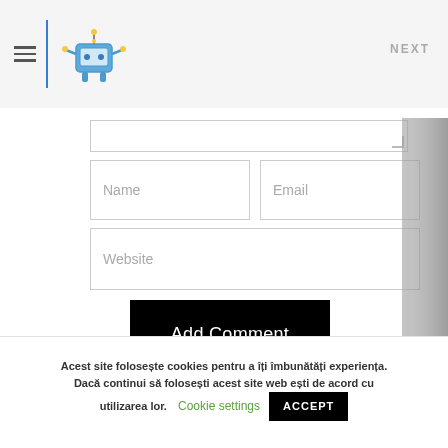NEXT
[Figure (logo): Robot/character logo with blue vertical divider line and hamburger menu icon]
Name
Email
Website
Add Comment
Acest site folosește Akismet pentru a reduce spamul. Află cum sunt procesate datele comentariilor tale.
Acest site folosește cookies pentru a îți îmbunătăți experiența. Dacă continui să folosești acest site web ești de acord cu utilizarea lor.